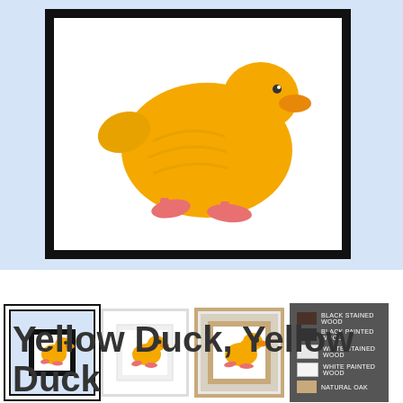[Figure (photo): Main product image: a framed art print of a yellow duck with pink feet on a light blue background. The frame is thick black wood. The duck illustration is yellow/golden with pink webbed feet.]
[Figure (photo): Thumbnail row showing three framed versions of the yellow duck print (black frame, white frame, natural wood frame) and a legend panel showing wood finish options: black stained wood, black painted wood, white stained wood, white painted wood, natural oak.]
Yellow Duck, Yellow Duck